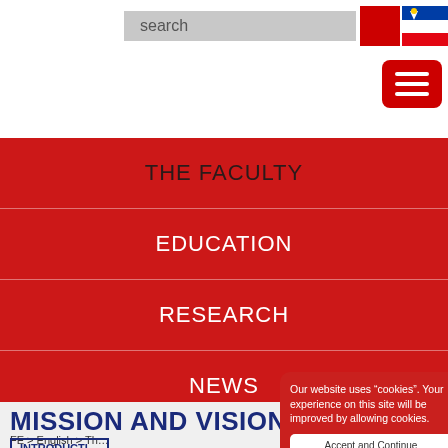[Figure (screenshot): Search bar with red button and Slovenian flag language selector]
[Figure (other): Red hamburger menu button with three white lines]
THE FACULTY
EDUCATION
RESEARCH
NEWS
COVID-19 INFO
MISSION AND VISION
FE > English > Th...
INTRODUCTI...
Our website uses “cookies”. Your experience on this site will be improved by allowing cookies.
Accept and Continue
More Information